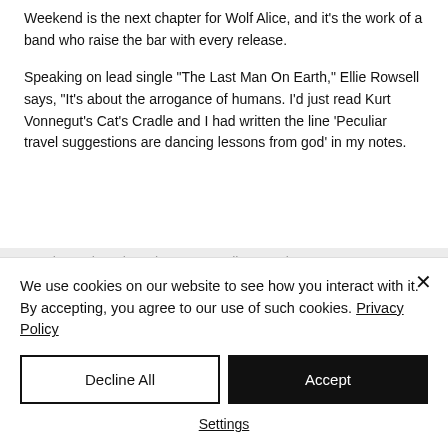Weekend is the next chapter for Wolf Alice, and it's the work of a band who raise the bar with every release.
Speaking on lead single "The Last Man On Earth," Ellie Rowsell says, "It's about the arrogance of humans. I'd just read Kurt Vonnegut's Cat's Cradle and I had written the line 'Peculiar travel suggestions are dancing lessons from god' in my notes.
But then I thought: 'Uh, your peculiar travel...
We use cookies on our website to see how you interact with it. By accepting, you agree to our use of such cookies. Privacy Policy
Decline All
Accept
Settings